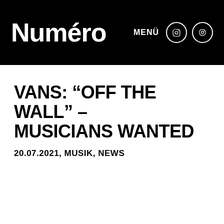Numéro
VANS: “OFF THE WALL” – MUSICIANS WANTED
20.07.2021, MUSIK, NEWS